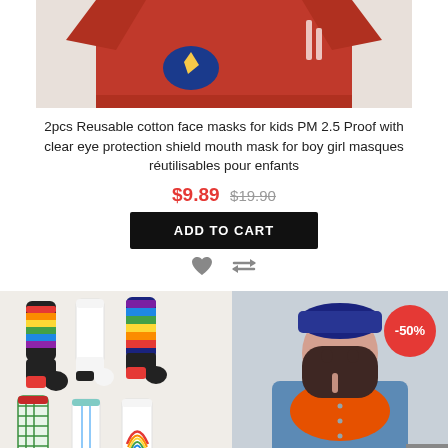[Figure (photo): Product image of red t-shirt/clothing item, cropped view]
2pcs Reusable cotton face masks for kids PM 2.5 Proof with clear eye protection shield mouth mask for boy girl masques réutilisables pour enfants
$9.89 $19.90
ADD TO CART
[Figure (photo): Colorful rainbow striped kids socks, multiple pairs displayed on light background]
[Figure (photo): Young girl wearing blue hat, denim jacket, and orange scarf, with -50% badge overlay]